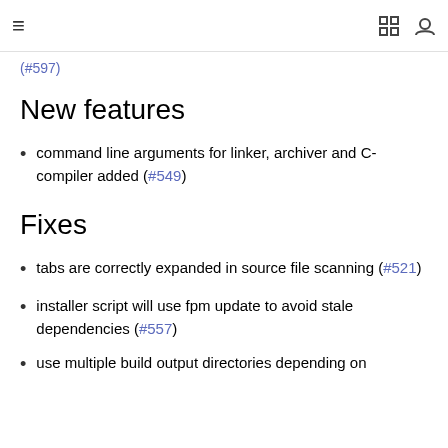≡  [icons]
(#597)
New features
command line arguments for linker, archiver and C-compiler added (#549)
Fixes
tabs are correctly expanded in source file scanning (#521)
installer script will use fpm update to avoid stale dependencies (#557)
use multiple build output directories depending on